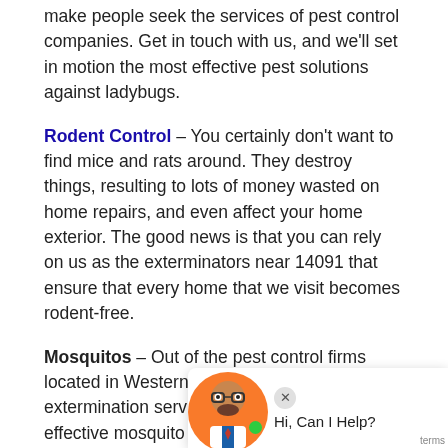make people seek the services of pest control companies. Get in touch with us, and we'll set in motion the most effective pest solutions against ladybugs.
Rodent Control – You certainly don't want to find mice and rats around. They destroy things, resulting to lots of money wasted on home repairs, and even affect your home exterior. The good news is that you can rely on us as the exterminators near 14091 that ensure that every home that we visit becomes rodent-free.
Mosquitos – Out of the pest control firms located in Western New York, our mosquito extermination services deliver the most effective mosquito and bug extermination results in the area.
Rare Invaders – Crickets, Pillbugs, Silverfish, and Cluster flies make your place a mess and end up being a pain in the ass. If you are looking to
[Figure (screenshot): Chat widget overlay with avatar and 'Hi, Can I Help?' text]